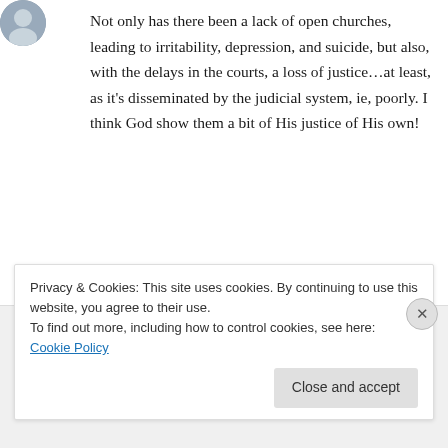[Figure (photo): Small circular avatar photo of a user, partially visible at top left]
Not only has there been a lack of open churches, leading to irritability, depression, and suicide, but also, with the delays in the courts, a loss of justice…at least, as it's disseminated by the judicial system, ie, poorly. I think God show them a bit of His justice of His own!
↳ Reply
GraceandTruth on November 2, 2020 at 9:33
Privacy & Cookies: This site uses cookies. By continuing to use this website, you agree to their use.
To find out more, including how to control cookies, see here: Cookie Policy
Close and accept